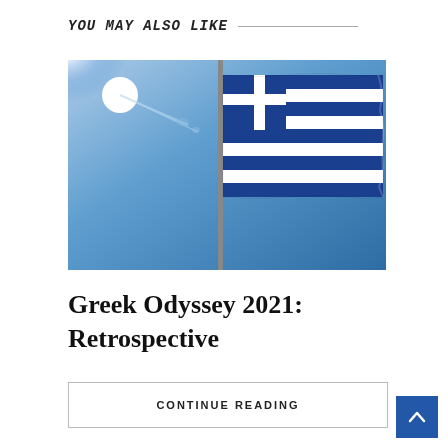YOU MAY ALSO LIKE
[Figure (photo): Greek flag waving on a flagpole against a bright blue sky with sunlight flare in the upper left corner]
Greek Odyssey 2021: Retrospective
CONTINUE READING